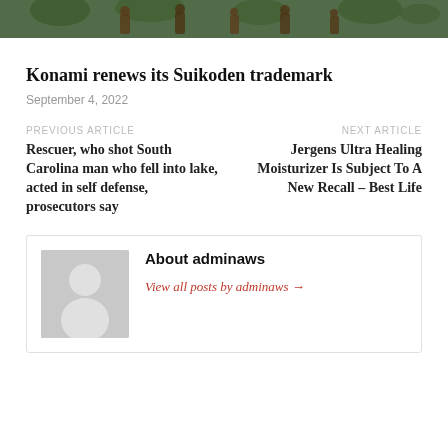[Figure (photo): Top portion of an image showing a group of figures/people with green foliage background]
Konami renews its Suikoden trademark
September 4, 2022
PREVIOUS ARTICLE
Rescuer, who shot South Carolina man who fell into lake, acted in self defense, prosecutors say
NEXT ARTICLE
Jergens Ultra Healing Moisturizer Is Subject To A New Recall – Best Life
About adminaws
View all posts by adminaws →